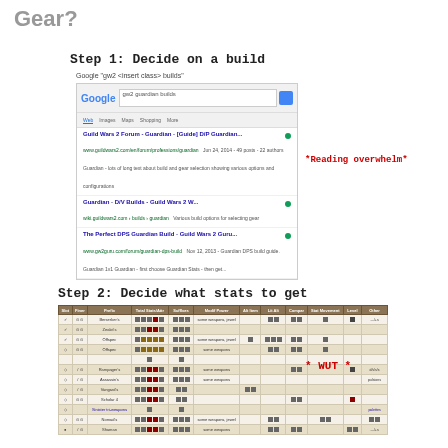Gear?
Step 1: Decide on a build
Google "gw2 <insert class> builds"
[Figure (screenshot): Screenshot of a Google search results page for 'gw2 guardian builds' showing multiple links to Guild Wars 2 Guardian build guides]
*Reading overwhelm*
Step 2: Decide what stats to get
[Figure (screenshot): Screenshot of a complex Guild Wars 2 gear/stats selection table with many rows and columns showing equipment slots, stats, and item options]
* WUT *